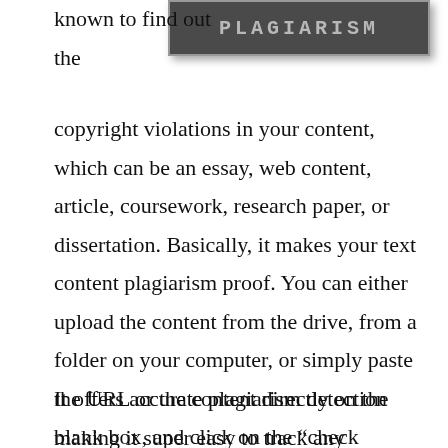[Figure (other): Screenshot or logo banner with the word PLAGIARISM in bold monospace text on a dark background]
known to find out the copyright violations in your content, which can be an essay, web content, article, coursework, research paper, or dissertation. Basically, it makes your text content plagiarism proof. You can either upload the content from the drive, from a folder on your computer, or simply paste the URL or the content directly on the blank box, and click on the “check duplicate content” button. The software then takes only a couple of minutes to check the entire content.
It offers accurate plagiarism detection making it super easy to track any duplicate content. It supports all